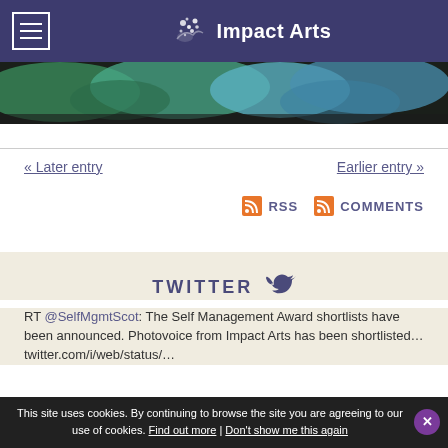Impact Arts
[Figure (photo): Partial view of colorful artwork with blue and green shapes on a dark background]
« Later entry
Earlier entry »
RSS  COMMENTS
TWITTER
RT @SelfMgmtScot: The Self Management Award shortlists have been announced. Photovoice from Impact Arts has been shortlisted... twitter.com/i/web/status/...
This site uses cookies. By continuing to browse the site you are agreeing to our use of cookies. Find out more | Don't show me this again